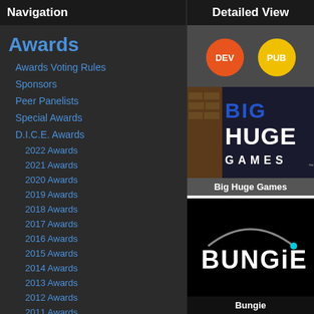Navigation
Detailed View
Awards
Awards Voting Rules
Sponsors
Peer Panelists
Special Awards
D.I.C.E. Awards
2022 Awards
2021 Awards
2020 Awards
2019 Awards
2018 Awards
2017 Awards
2016 Awards
2015 Awards
2014 Awards
2013 Awards
2012 Awards
2011 Awards
[Figure (logo): Orange DEV badge circle and Yellow PUB badge circle]
[Figure (logo): Big Huge Games logo - blue BIG HUGE GAMES text on dark background]
Big Huge Games
[Figure (logo): Bungie logo - white BUNGIE text with cyan dot on black background]
Bungie